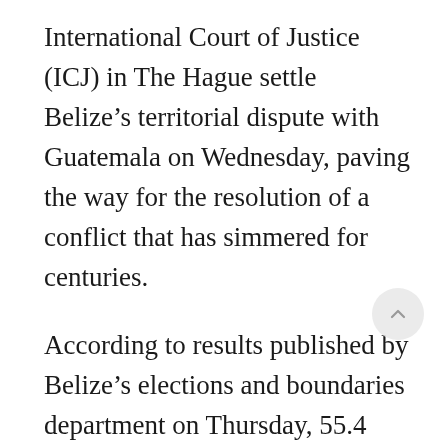International Court of Justice (ICJ) in The Hague settle Belize’s territorial dispute with Guatemala on Wednesday, paving the way for the resolution of a conflict that has simmered for centuries.
According to results published by Belize’s elections and boundaries department on Thursday, 55.4 percent of voters opted to send the matter to the United Nations world court, while 44.6 percent voted against the motion. Belize’s...